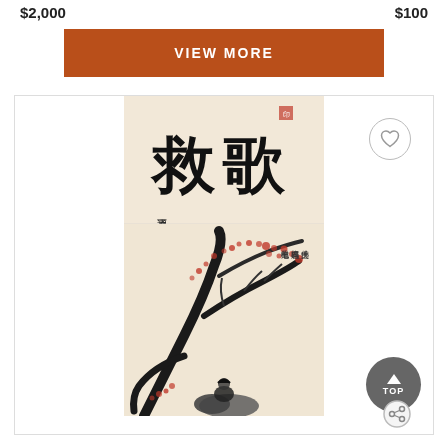$2,000   $100
VIEW MORE
[Figure (photo): Chinese ink painting showing plum blossoms on branches with calligraphy text and a figure seated on rocks, with large Chinese characters at the top reading '歌' and other characters. A heart/favorite button and TOP scroll-to-top button are overlaid on the card.]